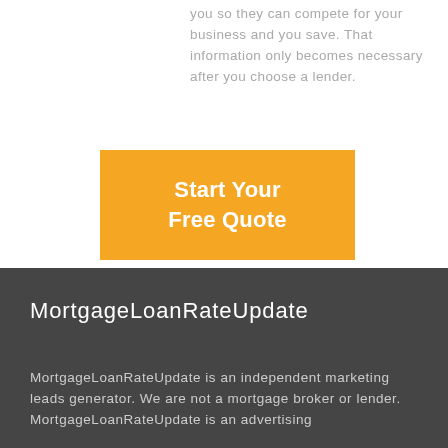you so they can compete for your business and you save. That information only becomes necessary after you choose a lender.
[Figure (other): Orange call-to-action button with white text reading 'Start Your Free Quote']
MortgageLoanRateUpdate
MortgageLoanRateUpdate is an independent marketing leads generator. We are not a mortgage broker or lender. MortgageLoanRateUpdate is an advertising